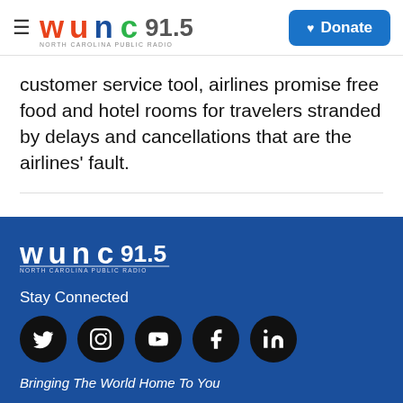WUNC 91.5 North Carolina Public Radio | Donate
customer service tool, airlines promise free food and hotel rooms for travelers stranded by delays and cancellations that are the airlines' fault.
[Figure (logo): WUNC 91.5 North Carolina Public Radio logo in footer, white on dark blue background]
Stay Connected
[Figure (infographic): Social media icons: Twitter, Instagram, YouTube, Facebook, LinkedIn — black circles with white icons]
Bringing The World Home To You
WUNC — Here & Now (player bar)